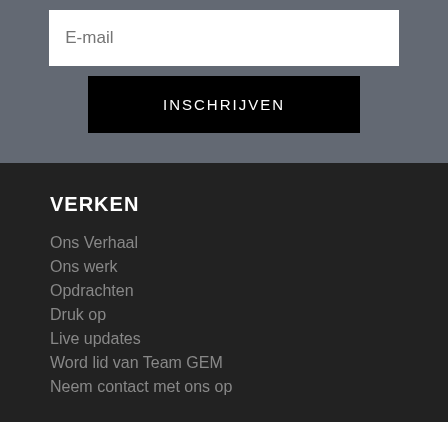E-mail
INSCHRIJVEN
VERKEN
Ons Verhaal
Ons werk
Opdrachten
Druk op
Live updates
Word lid van Team GEM
Neem contact met ons op